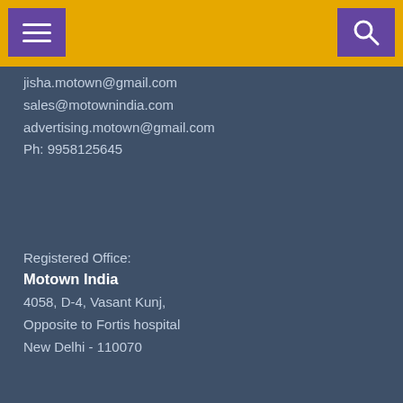[Figure (screenshot): Top navigation bar with golden/yellow background, purple hamburger menu button on left and purple search icon button on right]
jisha.motown@gmail.com
sales@motownindia.com
advertising.motown@gmail.com
Ph: 9958125645
Registered Office:
Motown India
4058, D-4, Vasant Kunj,
Opposite to Fortis hospital
New Delhi - 110070
© 2022 MotownIndia - ALL RIGHTS RESERVED
⏻ POWERED BY - VIDYA SOFTWARES
[Figure (screenshot): Scroll/expand chevron button (down arrow) in a rounded rectangle]
[Figure (screenshot): Advertisement banner for Law's Architectural Signs - Complete Sign Systems, Custom Signage Since 1948, High Rise Condos, Office Buildings, Hospitality. For a Free Quote Call: 305-871-6565]